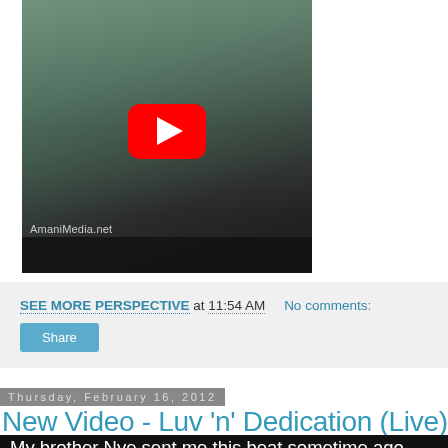[Figure (screenshot): YouTube video thumbnail showing a person seated in a chair near a window with wooden frames, with a large YouTube play button overlay in red and the watermark 'AmaniMedia.net' in the lower left corner]
SEE MORE PERSPECTIVE at 11:54 AM   No comments:
Share
Thursday, February 16, 2012
New Video - Luv 'n' Dedication (Live)
My brother Nye sent me this beat sometime ago and I immediately thought this was one of the illest beats I'd heard in a while. I've been so busy writing for other projects that I never got to write something proper to this...As I'm always looking for ways to spruce up a set or a song or whatever, I went digging for beats one day prepping for a show and tried